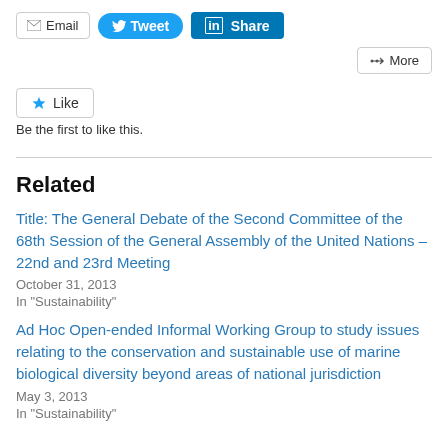[Figure (other): Social sharing buttons: Email, Tweet, Share (LinkedIn), and More]
[Figure (other): Like button with star icon]
Be the first to like this.
Related
Title: The General Debate of the Second Committee of the 68th Session of the General Assembly of the United Nations – 22nd and 23rd Meeting
October 31, 2013
In "Sustainability"
Ad Hoc Open-ended Informal Working Group to study issues relating to the conservation and sustainable use of marine biological diversity beyond areas of national jurisdiction
May 3, 2013
In "Sustainability"